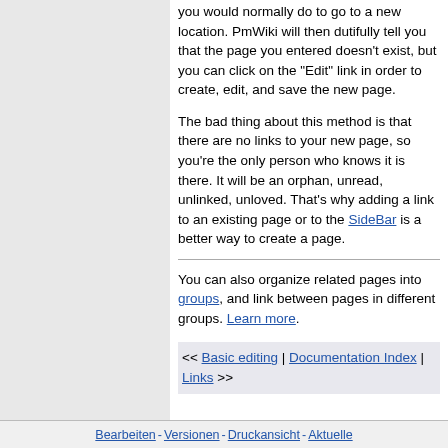you would normally do to go to a new location. PmWiki will then dutifully tell you that the page you entered doesn't exist, but you can click on the "Edit" link in order to create, edit, and save the new page.
The bad thing about this method is that there are no links to your new page, so you're the only person who knows it is there. It will be an orphan, unread, unlinked, unloved. That's why adding a link to an existing page or to the SideBar is a better way to create a page.
You can also organize related pages into groups, and link between pages in different groups. Learn more.
<< Basic editing | Documentation Index | Links >>
Bearbeiten - Versionen - Druckansicht - Aktuelle